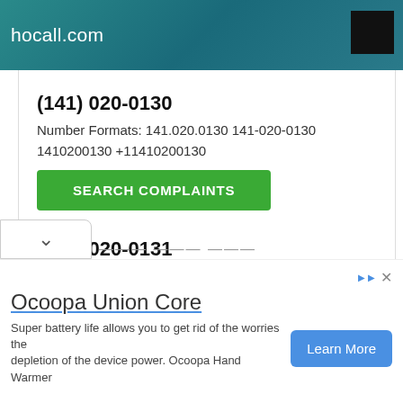hocall.com
(141) 020-0130
Number Formats: 141.020.0130 141-020-0130 1410200130 +11410200130
SEARCH COMPLAINTS
(141) 020-0131
Number Formats: 141.020.0131 141-020-0131 1410200131 +11410200131
SEARCH COMPLAINTS
Ocoopa Union Core
Super battery life allows you to get rid of the worries the depletion of the device power. Ocoopa Hand Warmer
Learn More